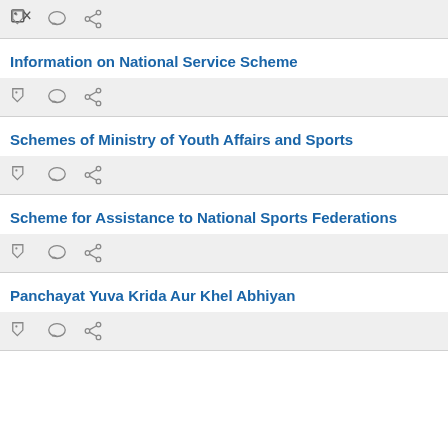[Figure (other): Icon toolbar with tag, comment, and share icons]
Information on National Service Scheme
[Figure (other): Icon toolbar with tag, comment, and share icons]
Schemes of Ministry of Youth Affairs and Sports
[Figure (other): Icon toolbar with tag, comment, and share icons]
Scheme for Assistance to National Sports Federations
[Figure (other): Icon toolbar with tag, comment, and share icons]
Panchayat Yuva Krida Aur Khel Abhiyan
[Figure (other): Icon toolbar with tag, comment, and share icons]